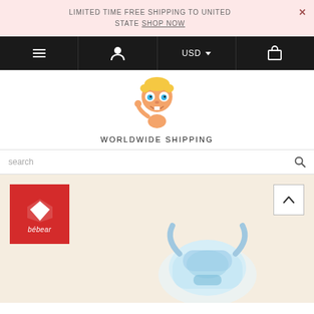LIMITED TIME FREE SHIPPING TO UNITED STATE SHOP NOW ×
[Figure (screenshot): Navigation bar with hamburger menu, user icon, USD currency selector, and shopping bag icon on black background]
[Figure (illustration): 3D cartoon baby mascot with blonde hair and blue eyes, smiling and waving]
WORLDWIDE SHIPPING
search
[Figure (logo): bébear brand logo: red square with white diamond/gem shape and text 'bébear' in white]
[Figure (photo): Baby carrier product in light blue/white color, partially visible at bottom of page]